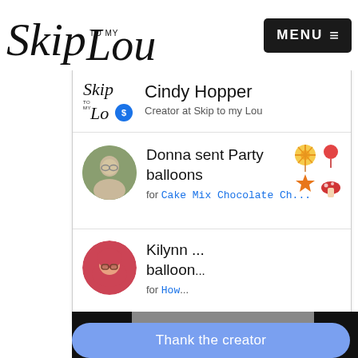Skip to my Lou — MENU
[Figure (screenshot): Skip to my Lou website header with logo and MENU button]
[Figure (screenshot): Creator profile card showing Cindy Hopper, Creator at Skip to my Lou with small logo]
Donna sent Party balloons for Cake Mix Chocolate Ch...
Kilynn ... balloon... for How...
Vi...
[Figure (screenshot): Video overlay showing cyan play button logo on dark grey background]
Thank the creator